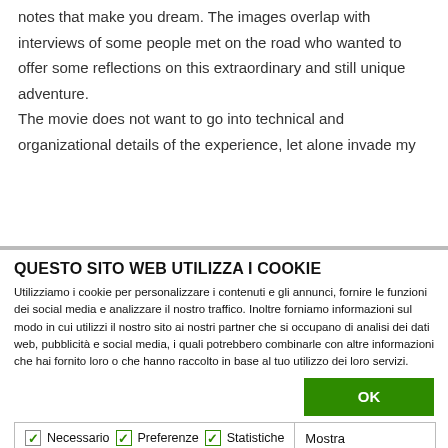amphitheatres permeated with magical notes that make you dream. The images overlap with interviews of some people met on the road who wanted to offer some reflections on this extraordinary and still unique adventure.
The movie does not want to go into technical and organizational details of the experience, let alone invade my
QUESTO SITO WEB UTILIZZA I COOKIE
Utilizziamo i cookie per personalizzare i contenuti e gli annunci, fornire le funzioni dei social media e analizzare il nostro traffico. Inoltre forniamo informazioni sul modo in cui utilizzi il nostro sito ai nostri partner che si occupano di analisi dei dati web, pubblicità e social media, i quali potrebbero combinarle con altre informazioni che hai fornito loro o che hanno raccolto in base al tuo utilizzo dei loro servizi.
OK
Necessario  Preferenze  Statistiche  Mostra dettagli
Marketing